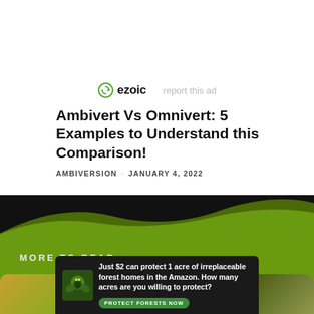[Figure (logo): Ezoic logo with circular arrow icon and 'report this ad' text link]
Ambivert Vs Omnivert: 5 Examples to Understand this Comparison!
AMBIVERSION  ·  JANUARY 4, 2022
[Figure (illustration): Green wave/hills design with dark background at top, olive and lime green gradient hills, 'MORE TO READ' section header, and partial thumbnail image strip at bottom]
[Figure (infographic): Banner ad: insect/forest image on left, text 'Just $2 can protect 1 acre of irreplaceable forest homes in the Amazon. How many acres are you willing to protect?' with green 'PROTECT FORESTS NOW' button]